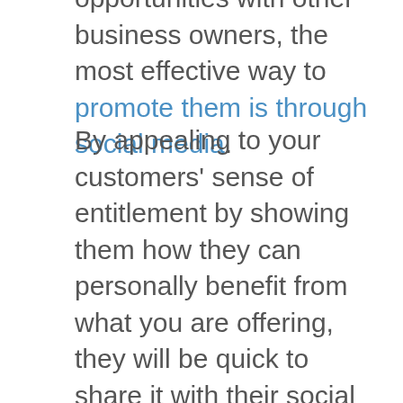opportunities with other business owners, the most effective way to promote them is through social media.
By appealing to your customers' sense of entitlement by showing them how they can personally benefit from what you are offering, they will be quick to share it with their social media connections, expanding the scope of your promotion and increasing its chances of going viral.